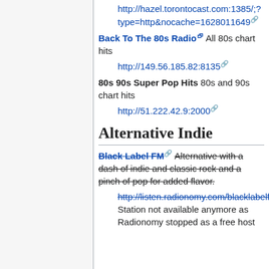http://hazel.torontocast.com:1385/;?type=http&nocache=1628011649
Back To The 80s Radio [ext] All 80s chart hits
http://149.56.185.82:8135
80s 90s Super Pop Hits 80s and 90s chart hits
http://51.222.42.9:2000
Alternative Indie
Black Label FM [ext] Alternative with a dash of indie and classic rock and a pinch of pop for added flavor.
http://listen.radionomy.com/blacklabelfm [ext] Station not available anymore as Radionomy stopped as a free host